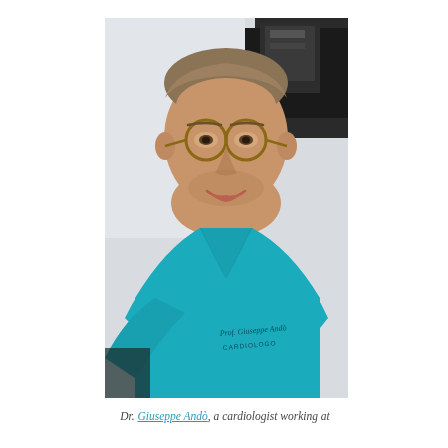[Figure (photo): Portrait photo of Dr. Giuseppe Andò, a male cardiologist wearing round glasses and a teal/turquoise v-neck medical scrub top with his name and 'CARDIOLOGO' embroidered on it. He is smiling, has short light brown hair and stubble beard. Medical equipment is visible in the background.]
Dr. Giuseppe Andò, a cardiologist working at